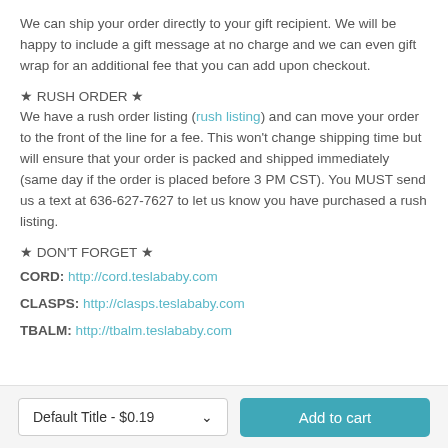We can ship your order directly to your gift recipient. We will be happy to include a gift message at no charge and we can even gift wrap for an additional fee that you can add upon checkout.
★ RUSH ORDER ★
We have a rush order listing (rush listing) and can move your order to the front of the line for a fee. This won't change shipping time but will ensure that your order is packed and shipped immediately (same day if the order is placed before 3 PM CST). You MUST send us a text at 636-627-7627 to let us know you have purchased a rush listing.
★ DON'T FORGET ★
CORD: http://cord.teslababy.com
CLASPS: http://clasps.teslababy.com
TBALM: http://tbalm.teslababy.com
Default Title - $0.19
Add to cart